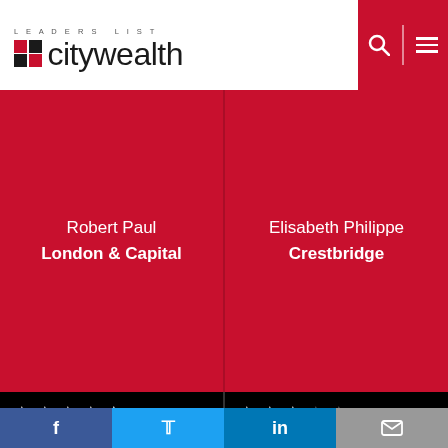LEADERS LIST citywealth
Robert Paul
London & Capital
Elisabeth Philippe
Crestbridge
★★★★½ (7 ratings)
★★★☆☆ (1 rating)